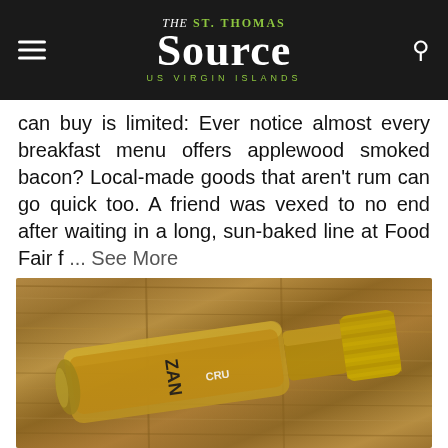The St. Thomas Source - US Virgin Islands
can buy is limited: Ever notice almost every breakfast menu offers applewood smoked bacon? Local-made goods that aren't rum can go quick too. A friend was vexed to no end after waiting in a long, sun-baked line at Food Fair f … See More
[Figure (photo): A Cruzan rum bottle lying on its side on a wooden surface, showing the gold cap and partial label reading 'CRUZAN']